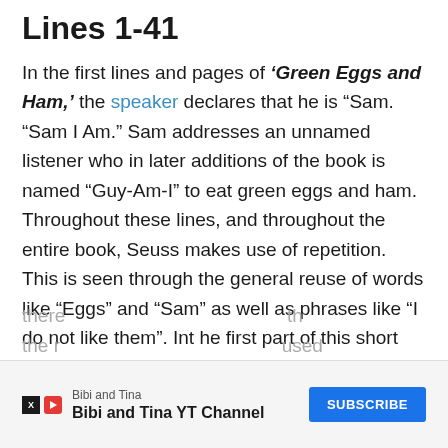Lines 1-41
In the first lines and pages of ‘Green Eggs and Ham,’ the speaker declares that he is “Sam. “Sam I Am.” Sam addresses an unnamed listener who in later additions of the book is named “Guy-Am-I” to eat green eggs and ham. Throughout these lines, and throughout the entire book, Seuss makes use of repetition. This is seen through the general reuse of words like “Eggs” and “Sam” as well as phrases like “I do not like them”. Int he first part of this short book there… th the r… used
[Figure (other): Advertisement overlay: Bibi and Tina YT Channel with Subscribe button]